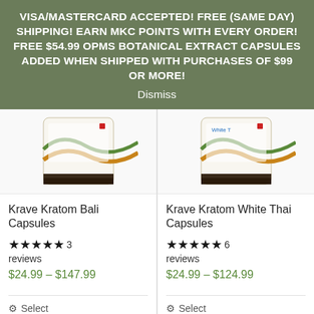VISA/MASTERCARD ACCEPTED! FREE (SAME DAY) SHIPPING! EARN MKC POINTS WITH EVERY ORDER! FREE $54.99 OPMS BOTANICAL EXTRACT CAPSULES ADDED WHEN SHIPPED WITH PURCHASES OF $99 OR MORE!
Dismiss
[Figure (photo): Partial view of Krave Kratom Bali Capsules bottle with green and gold wave design label]
Krave Kratom Bali Capsules
★★★★★ 3 reviews
$24.99 – $147.99
⚙ Select options
[Figure (photo): Partial view of Krave Kratom White Thai Capsules bottle with green and gold wave design label]
Krave Kratom White Thai Capsules
★★★★★ 6 reviews
$24.99 – $124.99
⚙ Select options